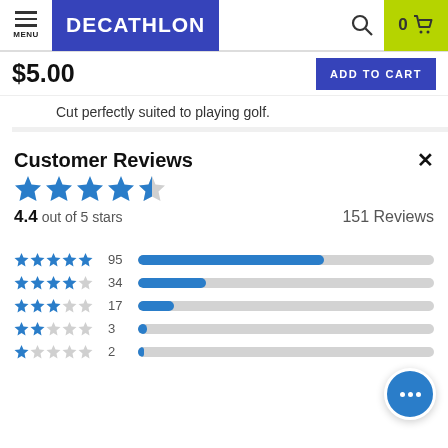[Figure (screenshot): Decathlon website header with menu icon, Decathlon logo in blue, search icon, and cart with 0 items on yellow-green background]
$5.00
ADD TO CART
Cut perfectly suited to playing golf.
Customer Reviews
4.4 out of 5 stars     151 Reviews
[Figure (bar-chart): Rating distribution]